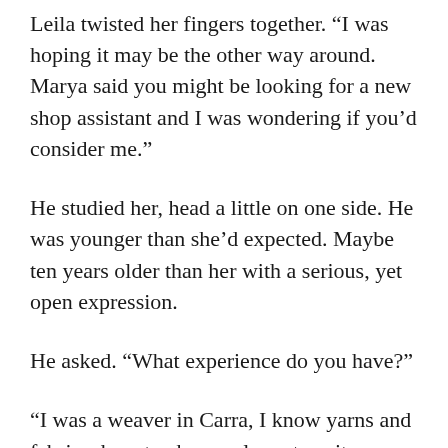Leila twisted her fingers together. “I was hoping it may be the other way around. Marya said you might be looking for a new shop assistant and I was wondering if you’d consider me.”
He studied her, head a little on one side. He was younger than she’d expected. Maybe ten years older than her with a serious, yet open expression.
He asked. “What experience do you have?”
“I was a weaver in Carra, I know yarns and fabrics, how to chose colours to suit different